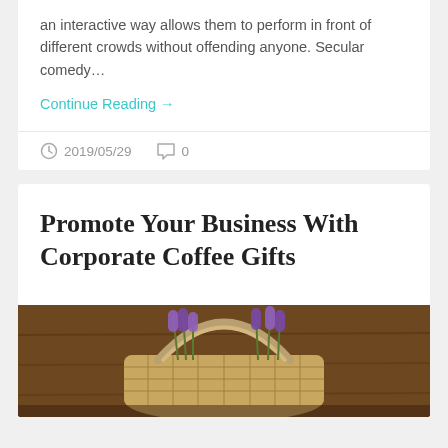an interactive way allows them to perform in front of different crowds without offending anyone. Secular comedy…
Continue Reading →
2019/05/29   0
Promote Your Business With Corporate Coffee Gifts
[Figure (photo): A wicker basket with purple lavender flowers on a dark brown wooden background]